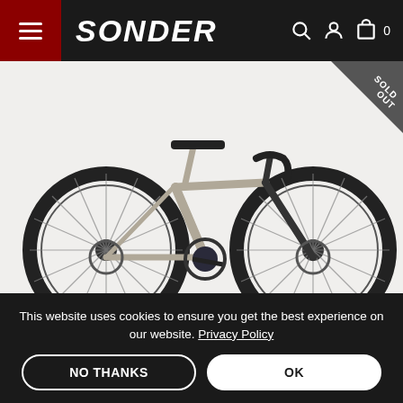SONDER
[Figure (photo): A titanium road/gravel bicycle with disc brakes, drop handlebars, and black components photographed on a white background. A 'SOLD OUT' banner appears in the top-right corner of the image.]
This website uses cookies to ensure you get the best experience on our website. Privacy Policy
NO THANKS
OK